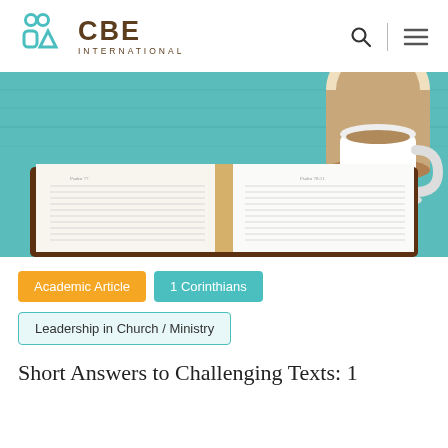[Figure (logo): CBE International logo with teal icon and brown text]
[Figure (photo): Open Bible on a teal wooden table with a coffee cup in the upper right corner]
Academic Article
1 Corinthians
Leadership in Church / Ministry
Short Answers to Challenging Texts: 1